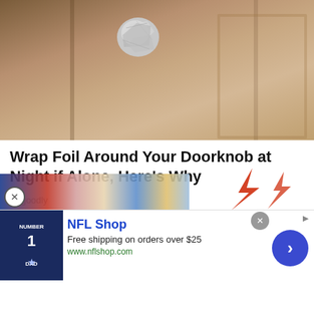[Figure (photo): Close-up photo of a door with a doorknob wrapped in aluminum foil. The door is tan/beige colored with wood grain texture and raised panel insets visible on the right side.]
Wrap Foil Around Your Doorknob at Night if Alone, Here's Why
Sogoodly
[Figure (infographic): Advertisement from NFL Shop showing a crowd of sports fans at top, lightning bolt graphic decoration on right, a navy blue NFL jersey with number 1 and DAD text, brand name NFL Shop, tagline Free shipping on orders over $25, URL www.nflshop.com, and a blue circular arrow button. Also includes a close (X) button.]